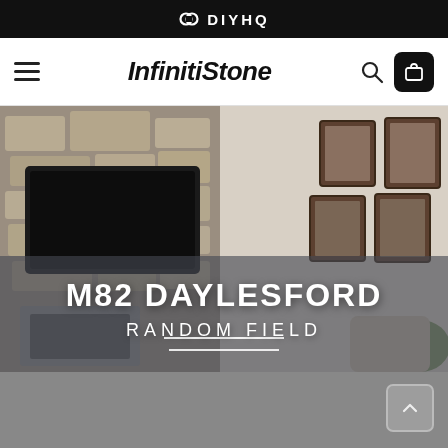DIYHQ
[Figure (logo): InfinitiStone logo with hamburger menu, search icon, and cart button on white navigation bar]
[Figure (photo): Interior room scene showing a stone fireplace with a wall-mounted TV on the left and a living area with framed artwork and decorative items on the right. Overlay text reads M82 DAYLESFORD RANDOM FIELD.]
M82 DAYLESFORD
RANDOM FIELD